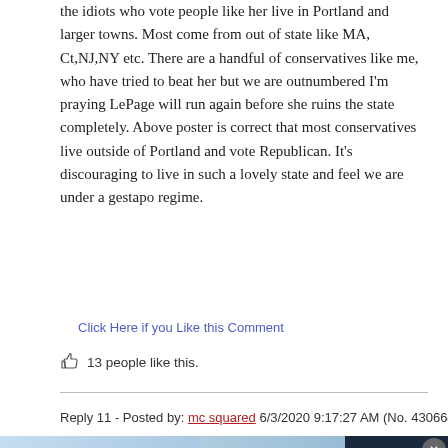the idiots who vote people like her live in Portland and larger towns. Most come from out of state like MA, Ct,NJ,NY etc. There are a handful of conservatives like me, who have tried to beat her but we are outnumbered I'm praying LePage will run again before she ruins the state completely. Above poster is correct that most conservatives live outside of Portland and vote Republican. It's discouraging to live in such a lovely state and feel we are under a gestapo regime.
Click Here if you Like this Comment
13 people like this.
Reply 11 - Posted by: mc squared 6/3/2020 9:17:27 AM (No. 430664)
[Figure (infographic): Advertisement banner for Top Junior Gold Mining Stock. Left section shows bold text 'Top Junior Gold Mining Stock' on light blue background with wave graphic. Middle section reads 'Get access to the next Top mining "Micro Cap" here!' Right dark section shows 'EXPLORE NOW' in white bold text. Close button (x) in top right corner.]